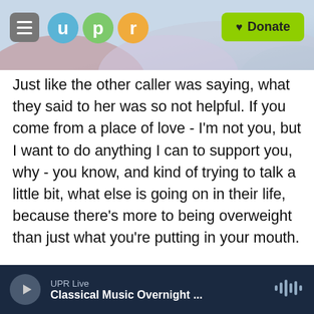[Figure (screenshot): UPR website header with hamburger menu, UPR logo circles (u, p, r in teal, green, orange), decorative hills background, and green Donate button]
Just like the other caller was saying, what they said to her was so not helpful. If you come from a place of love - I'm not you, but I want to do anything I can to support you, why - you know, and kind of trying to talk a little bit, what else is going on in their life, because there's more to being overweight than just what you're putting in your mouth.
It's your lifestyle. It's the stress. It's needing love. It's not having enough support. There are so many different factors. So when we look at somebody being overweight, we have to look at the whole picture. So the best way we can support them is by
UPR Live
Classical Music Overnight ...